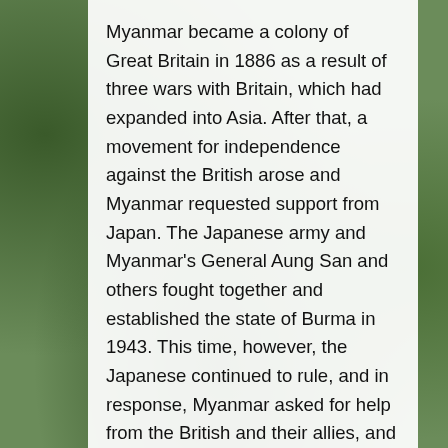Myanmar became a colony of Great Britain in 1886 as a result of three wars with Britain, which had expanded into Asia. After that, a movement for independence against the British arose and Myanmar requested support from Japan. The Japanese army and Myanmar's General Aung San and others fought together and established the state of Burma in 1943. This time, however, the Japanese continued to rule, and in response, Myanmar asked for help from the British and their allies, and by April 1945, the Japanese were driven out. From then on, the country negotiated with the British for independence, which was officially granted in 1948.
After independence, a new military...